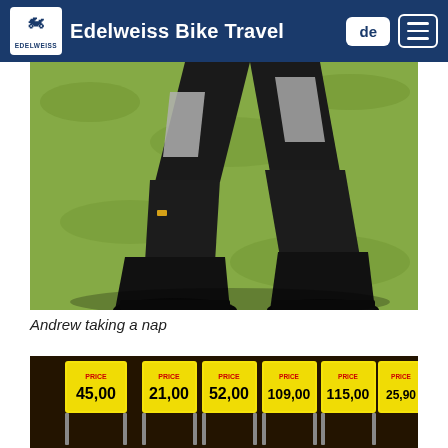Edelweiss Bike Travel
[Figure (photo): Person lying on grass wearing black motorcycle pants and boots, viewed from above, arms and legs spread out. Protective panels visible on knees.]
Andrew taking a nap
[Figure (photo): Yellow price signs on dark background showing prices: 45,00 / 21,00 / 52,00 / 109,00 / 115,00 / 25,90]